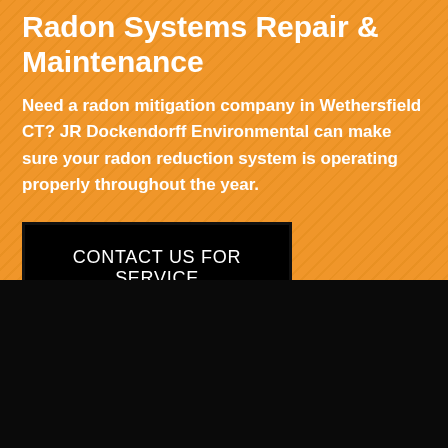Radon Systems Repair & Maintenance
Need a radon mitigation company in Wethersfield CT? JR Dockendorff Environmental can make sure your radon reduction system is operating properly throughout the year.
CONTACT US FOR SERVICE
[Figure (other): Black background section at the bottom of the page]